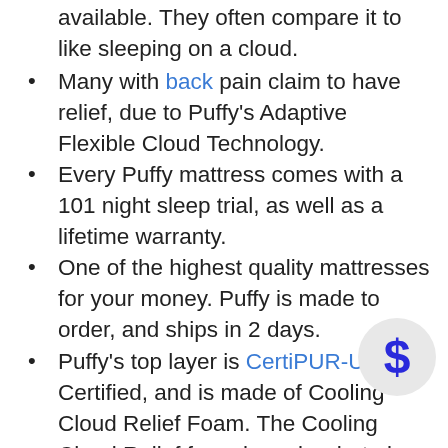available. They often compare it to like sleeping on a cloud.
Many with back pain claim to have relief, due to Puffy’s Adaptive Flexible Cloud Technology.
Every Puffy mattress comes with a 101 night sleep trial, as well as a lifetime warranty.
One of the highest quality mattresses for your money. Puffy is made to order, and ships in 2 days.
Puffy’s top layer is CertiPUR-US Certified, and is made of Cooling Cloud Relief Foam. The Cooling Cloud Relief foam layer is what gives you the “sleeping on a cloud” feeling. Th layer of Puffy is Firm Core Support Foam, which is also CertiPUR-US